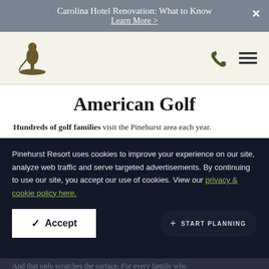Carolina Hotel Renovation: What to Know
Learn More >
[Figure (logo): Pinehurst 1895 golf logo with golfer silhouette]
American Golf
Hundreds of golf families visit the Pinehurst area each year.
Pinehurst Resort uses cookies to improve your experience on our site, analyze web traffic and serve targeted advertisements. By continuing to use our site, you accept our use of cookies. View our privacy & cookie policy here.
Accept
+ START PLANNING